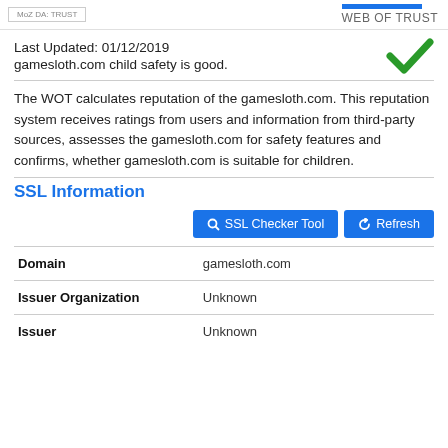WEB OF TRUST
Last Updated: 01/12/2019
gamesloth.com child safety is good.
The WOT calculates reputation of the gamesloth.com. This reputation system receives ratings from users and information from third-party sources, assesses the gamesloth.com for safety features and confirms, whether gamesloth.com is suitable for children.
SSL Information
|  |  |
| --- | --- |
| Domain | gamesloth.com |
| Issuer Organization | Unknown |
| Issuer | Unknown |